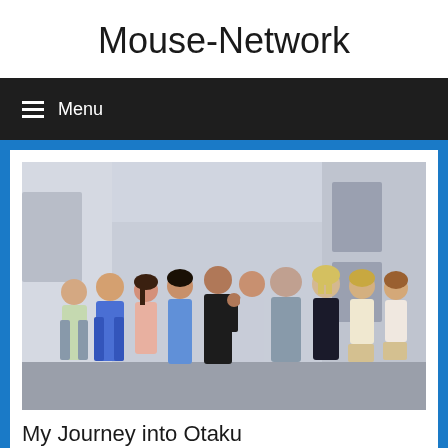Mouse-Network
≡ Menu
[Figure (illustration): Manga-style illustration of a group of approximately 10 anime characters standing together in an urban alleyway setting. Characters include both male and female figures in various casual outfits. The art style is typical of Japanese manga/anime.]
My Journey into Otaku